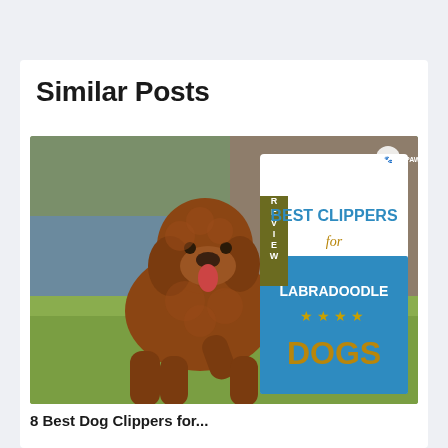Similar Posts
[Figure (photo): A brown curly-haired Labradoodle dog running on grass outdoors, with a promotional overlay graphic reading 'BEST CLIPPERS for LABRADOODLE DOGS' with gold stars and a 'REVIEW' banner, branded with Pawster logo.]
8 Best Dog Clippers for...